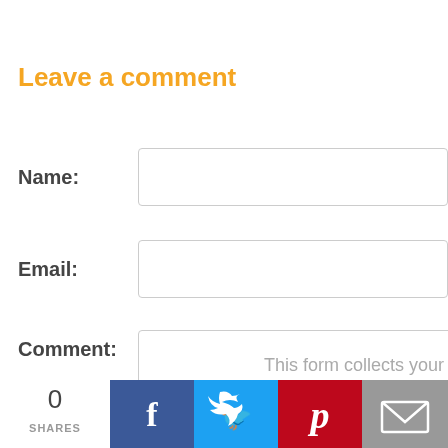Leave a comment
Name:
Email:
Comment:
This form collects your
[Figure (infographic): Social sharing bar with share count (0 SHARES), Facebook, Twitter, Pinterest, and Email buttons]